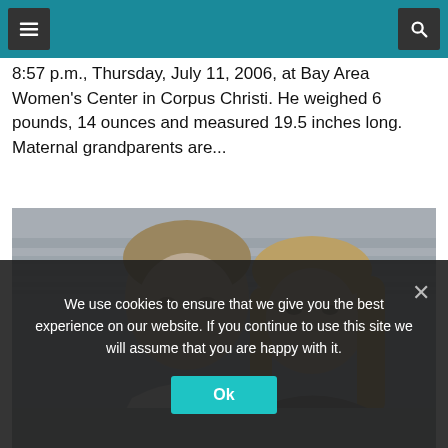[Navigation header bar with menu and search icons]
8:57 p.m., Thursday, July 11, 2006, at Bay Area Women's Center in Corpus Christi. He weighed 6 pounds, 14 ounces and measured 19.5 inches long. Maternal grandparents are...
[Figure (photo): Black and white photo of a young couple smiling, taken at a beach. The man has short hair and is wearing a white shirt; the woman has long blonde hair. Ocean waves are visible in the background.]
We use cookies to ensure that we give you the best experience on our website. If you continue to use this site we will assume that you are happy with it.